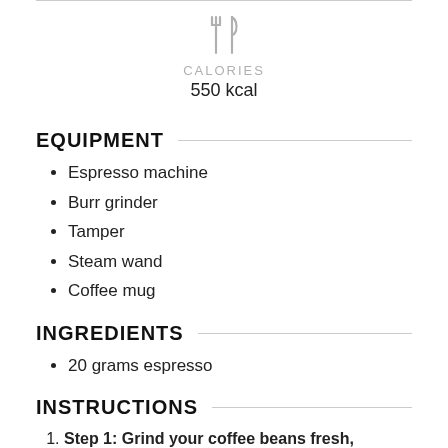[Figure (illustration): Fork and knife crossed icon (cutlery symbol) in light gray]
CALORIES
550 kcal
EQUIPMENT
Espresso machine
Burr grinder
Tamper
Steam wand
Coffee mug
INGREDIENTS
20 grams espresso
INSTRUCTIONS
Step 1: Grind your coffee beans fresh,